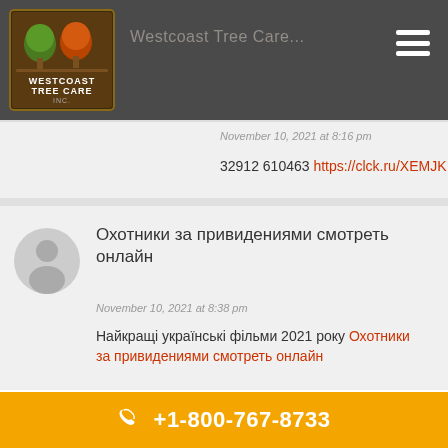[Figure (logo): Westcoast Tree Care Inc. logo with tree icons, on dark grey header background]
Westcoast Tree Care
November 10, 2021 at 8:16 pm
32912 610463 https://clck.ru/XEMJK
Охотники за привидениями смотреть онлайн
November 10, 2021 at 8:38 pm
Найкращі українські фільми 2021 року Охотники за привидениями смотреть онлайн
+1-800-767-8733